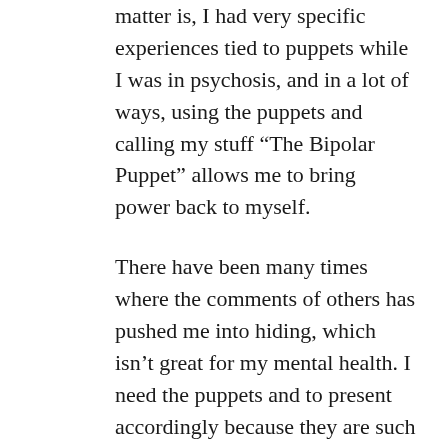matter is, I had very specific experiences tied to puppets while I was in psychosis, and in a lot of ways, using the puppets and calling my stuff “The Bipolar Puppet” allows me to bring power back to myself.
There have been many times where the comments of others has pushed me into hiding, which isn’t great for my mental health. I need the puppets and to present accordingly because they are such a big part of my wellness tools.
I am presenting on this topic in a couple of weeks and I am so grateful I found this article as it really drives home the points I intend to make. I